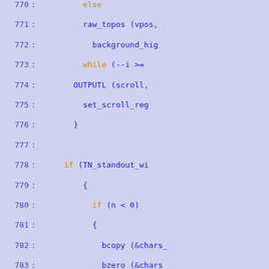[Figure (screenshot): Source code viewer showing C code lines 770-799 with line numbers in blue on left, keywords in orange (else, while, if, extern), and function/variable names in blue on right. Background is light periwinkle/lavender.]